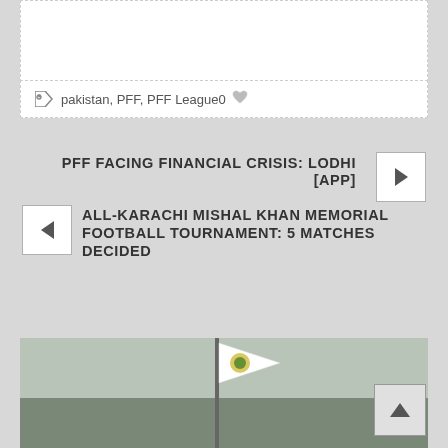pakistan, PFF, PFF League  0
PFF FACING FINANCIAL CRISIS: LODHI [APP]
ALL-KARACHI MISHAL KHAN MEMORIAL FOOTBALL TOURNAMENT: 5 MATCHES DECIDED
[Figure (photo): Photo showing a white flag with a yellow/green design against a light sky background]